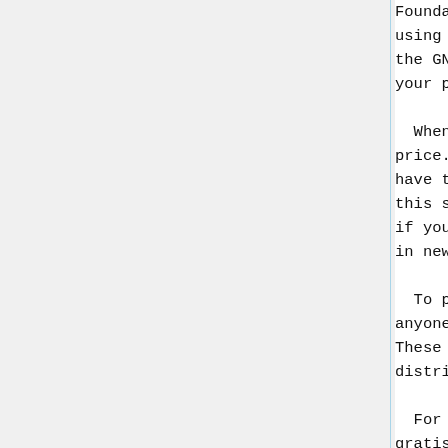Foundation's software and to assure that everyone is free to share and modify it. using it.  (Some other Free Software Foundation software is covered by the GNU Lesser General Public License instead.)  You can apply it to your programs, too.

  When we speak of free software, we are referring to freedom, not price.  Our General Public Licenses are designed to make sure that you have the freedom to distribute copies of free software (and charge for this service if you wish), that you receive source code or can get it if you want it, that you can change the software or use pieces of it in new free programs; and that you know you can do these things.

  To protect your rights, we need to make some restrictions that forbid anyone to deny you these rights or to ask you to surrender the rights. These restrictions translate to certain responsibilities for you if you distribute copies of the softwa

  For example, if you distribute copies of such a program, whether gratis or for a fee, you must give the recipients all the rights that you have.  You must make sure that they, too, receive or can get the source code.  And you must show them these terms so they know their rights.

  We protect your rights with two steps: (1) copyright the software, and (2) offer you this license which gives you legal permission to copy, distribute and/or modify the software.